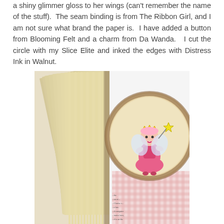a shiny glimmer gloss to her wings (can't remember the name of the stuff). The seam binding is from The Ribbon Girl, and I am not sure what brand the paper is. I have added a button from Blooming Felt and a charm from Da Wanda. I cut the circle with my Slice Elite and inked the edges with Distress Ink in Walnut.
[Figure (photo): A handmade altered book or art journal shown from the side. The pages are spread open showing aged/yellowed pages fanned out on the left. On the right side, a decorative element featuring a cute cartoon fairy princess character (wearing a pink dress and gold crown, with wings) mounted on a circular tag with distressed brown/walnut ink edges. Behind the fairy is pink gingham/plaid decorative paper. The overall aesthetic is vintage/shabby chic crafting.]